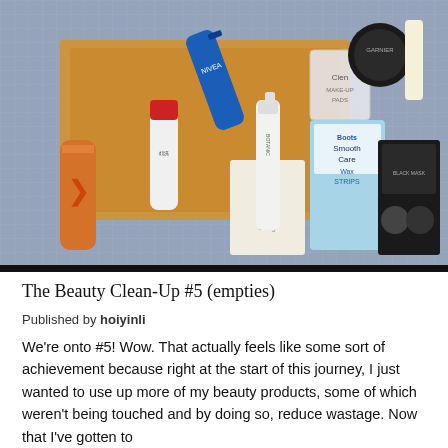[Figure (photo): Flat-lay photo of various beauty and skincare products including Nivea cream tube, Cien make-up pads, Boots Smooth Care Wax Strips, Botanic spray bottle, Cien soap bar, a black charcoal face mask, an orange spray can with chevron pattern, and a Japanese face wash tube, arranged on a blue striped fabric with an orange/yellow knit cloth.]
The Beauty Clean-Up #5 (empties)
Published by hoiyinli
We're onto #5! Wow. That actually feels like some sort of achievement because right at the start of this journey, I just wanted to use up more of my beauty products, some of which weren't being touched and by doing so, reduce wastage. Now that I've gotten to